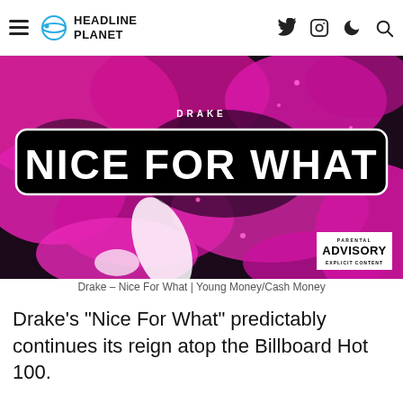HEADLINE PLANET
[Figure (illustration): Drake - Nice For What single cover art: pink and black abstract paint splashes with text 'DRAKE' above and 'NICE FOR WHAT' in large white bold font inside a rounded rectangle border, Parental Advisory sticker in bottom right corner]
Drake – Nice For What | Young Money/Cash Money
Drake’s “Nice For What” predictably continues its reign atop the Billboard Hot 100.